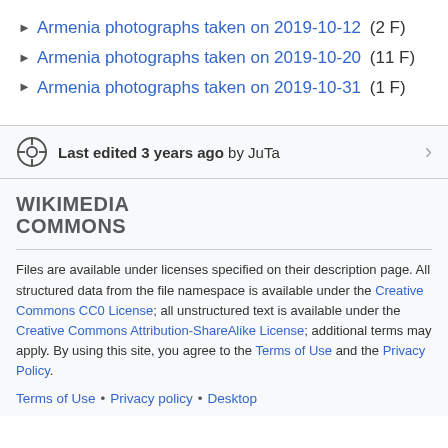Armenia photographs taken on 2019-10-12 (2 F)
Armenia photographs taken on 2019-10-20 (11 F)
Armenia photographs taken on 2019-10-31 (1 F)
Last edited 3 years ago by JuTa
[Figure (logo): Wikimedia Commons logo text]
Files are available under licenses specified on their description page. All structured data from the file namespace is available under the Creative Commons CC0 License; all unstructured text is available under the Creative Commons Attribution-ShareAlike License; additional terms may apply. By using this site, you agree to the Terms of Use and the Privacy Policy.
Terms of Use • Privacy policy • Desktop